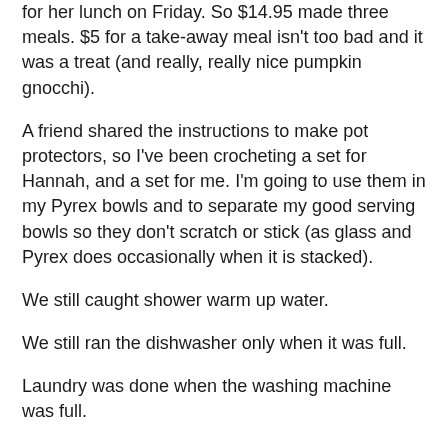for her lunch on Friday. So $14.95 made three meals. $5 for a take-away meal isn't too bad and it was a treat (and really, really nice pumpkin gnocchi).
A friend shared the instructions to make pot protectors, so I've been crocheting a set for Hannah, and a set for me. I'm going to use them in my Pyrex bowls and to separate my good serving bowls so they don't scratch or stick (as glass and Pyrex does occasionally when it is stacked).
We still caught shower warm up water.
We still ran the dishwasher only when it was full.
Laundry was done when the washing machine was full.
Washing was dried inside by the fire.
We kept the fire lit and the ducted heating off.
On sunny days I made sure the blinds were wide open to warm up the house, and closed them around 4pm when it